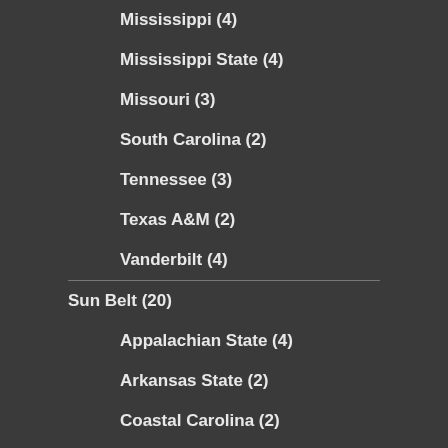Mississippi (4)
Mississippi State (4)
Missouri (3)
South Carolina (2)
Tennessee (3)
Texas A&M (2)
Vanderbilt (4)
Sun Belt (20)
Appalachian State (4)
Arkansas State (2)
Coastal Carolina (2)
Georgia Southern (1)